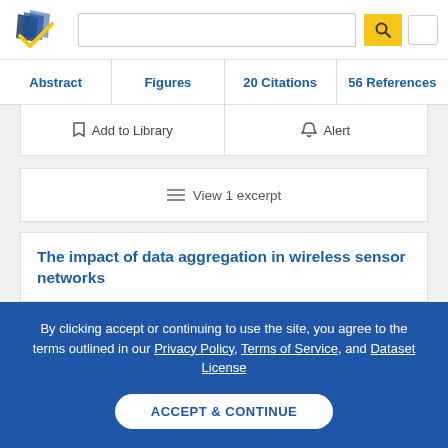Semantic Scholar header with logo, search bar, and search button
Abstract | Figures | 20 Citations | 56 References
Add to Library   Alert
≡ View 1 excerpt
The impact of data aggregation in wireless sensor networks
By clicking accept or continuing to use the site, you agree to the terms outlined in our Privacy Policy, Terms of Service, and Dataset License
ACCEPT & CONTINUE